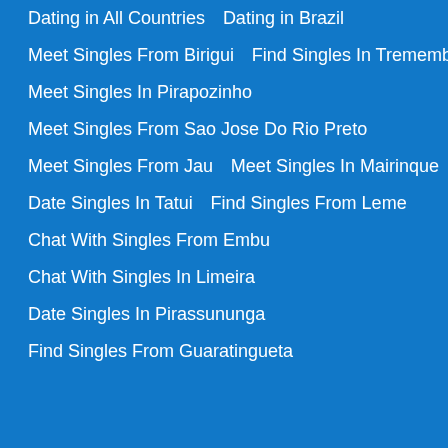Dating in All Countries    Dating in Brazil
Meet Singles From Birigui    Find Singles In Tremembe
Meet Singles In Pirapozinho
Meet Singles From Sao Jose Do Rio Preto
Meet Singles From Jau    Meet Singles In Mairinque
Date Singles In Tatui    Find Singles From Leme
Chat With Singles From Embu
Chat With Singles In Limeira
Date Singles In Pirassununga
Find Singles From Guaratingueta